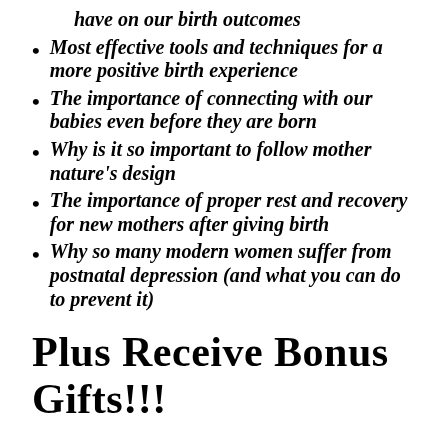have on our birth outcomes
Most effective tools and techniques for a more positive birth experience
The importance of connecting with our babies even before they are born
Why is it so important to follow mother nature's design
The importance of proper rest and recovery for new mothers after giving birth
Why so many modern women suffer from postnatal depression (and what you can do to prevent it)
Plus Receive Bonus Gifts!!!